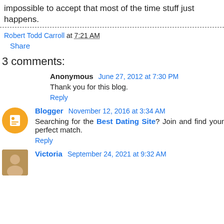impossible to accept that most of the time stuff just happens.
Robert Todd Carroll at 7:21 AM
Share
3 comments:
Anonymous June 27, 2012 at 7:30 PM
Thank you for this blog.
Reply
Blogger November 12, 2016 at 3:34 AM
Searching for the Best Dating Site? Join and find your perfect match.
Reply
Victoria September 24, 2021 at 9:32 AM